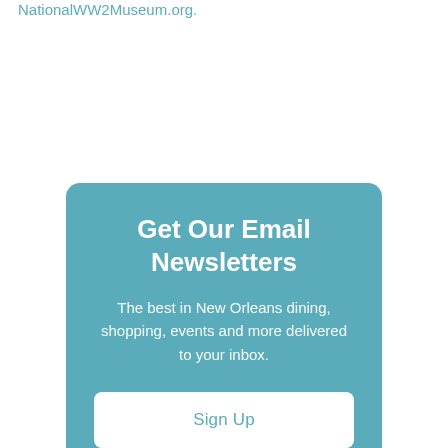NationalWW2Museum.org.
Get Our Email Newsletters
The best in New Orleans dining, shopping, events and more delivered to your inbox.
Sign Up